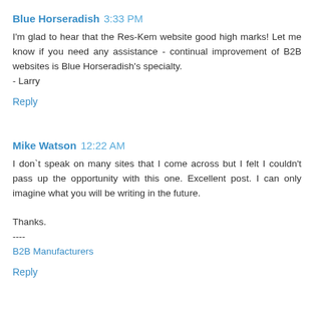Blue Horseradish 3:33 PM
I'm glad to hear that the Res-Kem website good high marks! Let me know if you need any assistance - continual improvement of B2B websites is Blue Horseradish's specialty.
- Larry
Reply
Mike Watson 12:22 AM
I don`t speak on many sites that I come across but I felt I couldn't pass up the opportunity with this one. Excellent post. I can only imagine what you will be writing in the future.

Thanks.
----
B2B Manufacturers
Reply